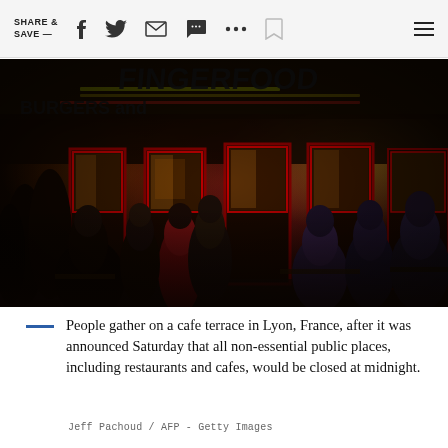SHARE & SAVE —
[Figure (photo): People sitting on a cafe terrace at night in Lyon, France, under a sign reading 'BURGERS and FINGERFOOD'. Red-framed windows of the cafe are lit up behind the outdoor diners.]
People gather on a cafe terrace in Lyon, France, after it was announced Saturday that all non-essential public places, including restaurants and cafes, would be closed at midnight.
Jeff Pachoud / AFP - Getty Images